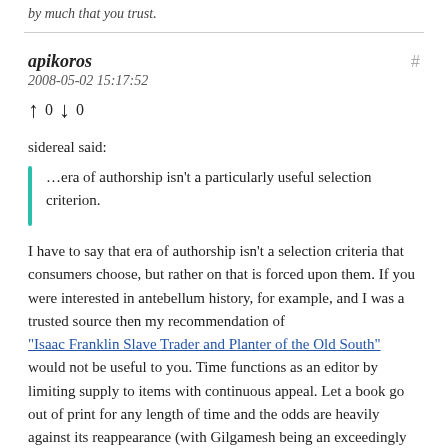by much that you trust.
apikoros
2008-05-02 15:17:52
↑ 0 ↓ 0
sidereal said:
…era of authorship isn't a particularly useful selection criterion.
I have to say that era of authorship isn't a selection criteria that consumers choose, but rather on that is forced upon them. If you were interested in antebellum history, for example, and I was a trusted source then my recommendation of "Isaac Franklin Slave Trader and Planter of the Old South" would not be useful to you. Time functions as an editor by limiting supply to items with continuous appeal. Let a book go out of print for any length of time and the odds are heavily against its reappearance (with Gilgamesh being an exceedingly